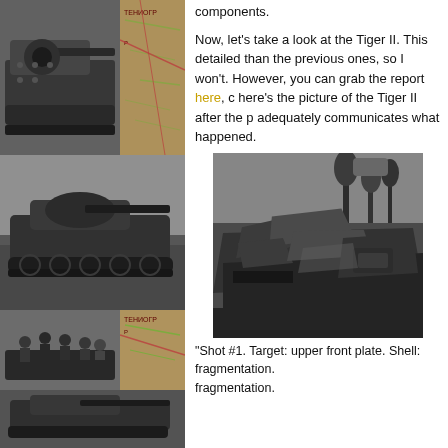[Figure (photo): Collage of black-and-white WWII tank photographs on the left side. Top row: close-up of tank gun barrel on left, colorized map on right. Middle: side view of a tank in a field. Bottom: soldiers on a tank turret with map, and another tank photo.]
components.
Now, let's take a look at the Tiger II. This detailed than the previous ones, so I won't. However, you can grab the report here, co here's the picture of the Tiger II after the p adequately communicates what happened.
[Figure (photo): Black-and-white photograph of a destroyed Tiger II tank, showing heavily damaged front armor and hull, with trees visible in the background.]
"Shot #1. Target: upper front plate. Shell: fragmentation.
fragmentation.